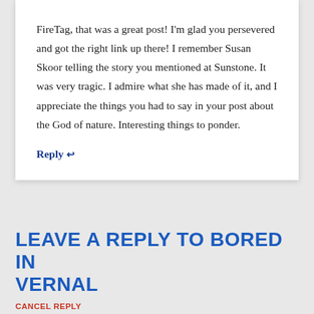FireTag, that was a great post! I'm glad you persevered and got the right link up there! I remember Susan Skoor telling the story you mentioned at Sunstone. It was very tragic. I admire what she has made of it, and I appreciate the things you had to say in your post about the God of nature. Interesting things to ponder.
Reply ↩
LEAVE A REPLY TO BORED IN VERNAL
CANCEL REPLY
Your email address will not be published. Required fields are marked *
COMMENT *